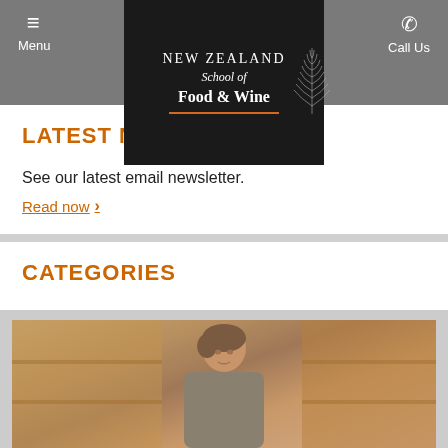Menu | New Zealand School of Food & Wine | Call Us
[Figure (logo): New Zealand School of Food & Wine logo — white text on black background with silver fern graphic and orange underline bar]
LATEST NEWS
See our latest email newsletter.
Read now ›
CATEGORIES
No Tags
[Figure (photo): Photo of a woman with short brown hair in a kitchen or food school setting with wooden shelving and cooking equipment in the background]